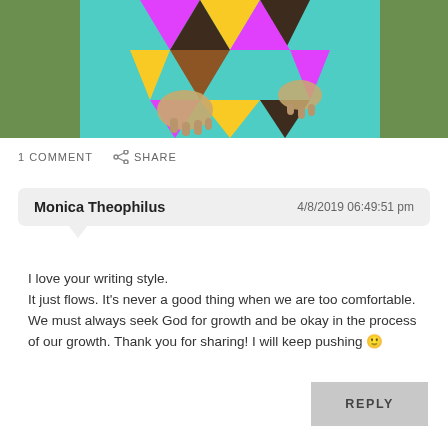[Figure (photo): Cropped photo showing a person wearing a colorful geometric-patterned outfit with turquoise, pink, yellow, and brown tones. Hands visible in foreground, green foliage in background.]
1 COMMENT   SHARE
Monica Theophilus   4/8/2019 06:49:51 pm
I love your writing style.
It just flows. It's never a good thing when we are too comfortable. We must always seek God for growth and be okay in the process of our growth. Thank you for sharing! I will keep pushing 🙂
REPLY